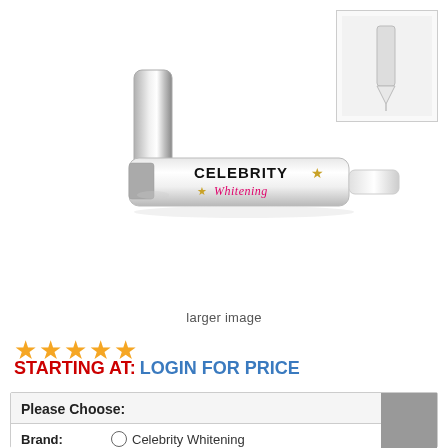[Figure (photo): Celebrity Whitening pen product photo - silver whitening pen lying flat with cap off, showing the tip, with the Celebrity Whitening logo on the barrel. Also a smaller thumbnail image of just the pen tip in top right corner.]
larger image
★★★★★
STARTING AT: LOGIN FOR PRICE
Please Choose:
Brand:  Celebrity Whitening